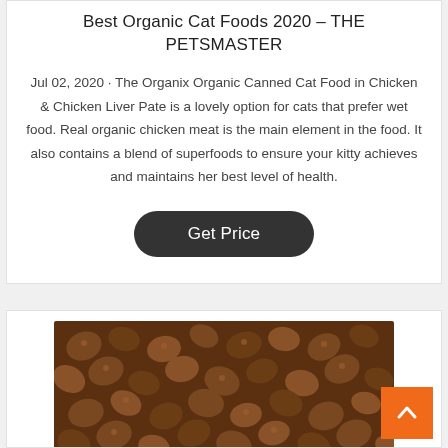Best Organic Cat Foods 2020 - THE PETSMASTER
Jul 02, 2020 · The Organix Organic Canned Cat Food in Chicken & Chicken Liver Pate is a lovely option for cats that prefer wet food. Real organic chicken meat is the main element in the food. It also contains a blend of superfoods to ensure your kitty achieves and maintains her best level of health.
Get Price
[Figure (photo): Close-up photo of brown dry cat food kibble pieces scattered on a surface]